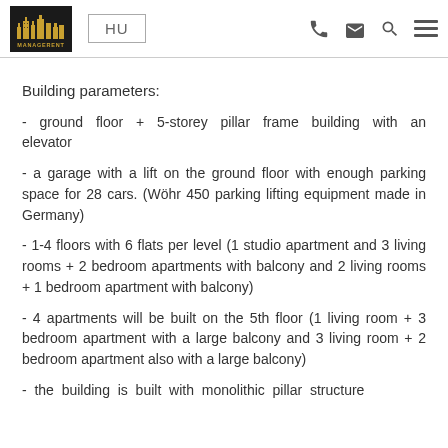MANAGERENT | HU
Building parameters:
- ground floor + 5-storey pillar frame building with an elevator
- a garage with a lift on the ground floor with enough parking space for 28 cars. (Wöhr 450 parking lifting equipment made in Germany)
- 1-4 floors with 6 flats per level (1 studio apartment and 3 living rooms + 2 bedroom apartments with balcony and 2 living rooms + 1 bedroom apartment with balcony)
- 4 apartments will be built on the 5th floor (1 living room + 3 bedroom apartment with a large balcony and 3 living room + 2 bedroom apartment also with a large balcony)
- the building is built with monolithic pillar structure